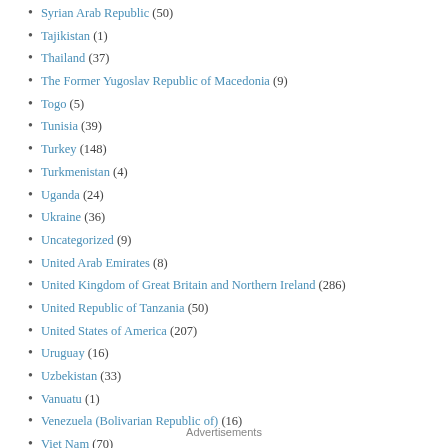Syrian Arab Republic (50)
Tajikistan (1)
Thailand (37)
The Former Yugoslav Republic of Macedonia (9)
Togo (5)
Tunisia (39)
Turkey (148)
Turkmenistan (4)
Uganda (24)
Ukraine (36)
Uncategorized (9)
United Arab Emirates (8)
United Kingdom of Great Britain and Northern Ireland (286)
United Republic of Tanzania (50)
United States of America (207)
Uruguay (16)
Uzbekistan (33)
Vanuatu (1)
Venezuela (Bolivarian Republic of) (16)
Viet Nam (70)
Yemen (35)
Zambia (8)
Zimbabwe (30)
Advertisements